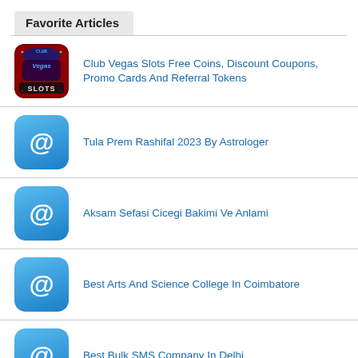Favorite Articles
Club Vegas Slots Free Coins, Discount Coupons, Promo Cards And Referral Tokens
Tula Prem Rashifal 2023 By Astrologer
Aksam Sefasi Cicegi Bakimi Ve Anlami
Best Arts And Science College In Coimbatore
Best Bulk SMS Company In Delhi